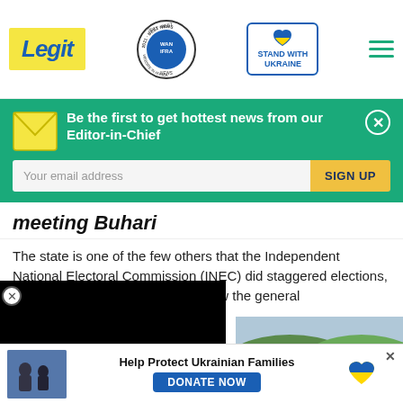Legit — WAN IFRA 2021 Best News Website in Africa | Stand with Ukraine
Be the first to get hottest news from our Editor-in-Chief
Your email address
SIGN UP
meeting Buhari
The state is one of the few others that the Independent National Electoral Commission (INEC) did staggered elections, this is the election that did not follow the general
[Figure (photo): Outdoor photo showing a building with red/terracotta roof and green hills/mountains in background]
[Figure (photo): Black video player overlay (collapsed/minimized video)]
Help Protect Ukrainian Families
DONATE NOW